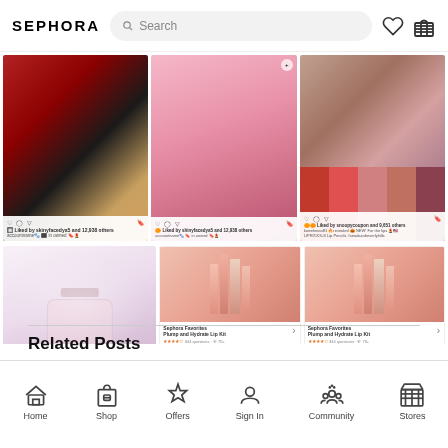SEPHORA
[Figure (screenshot): Sephora app screenshot showing makeup products grid - top row with three Instagram-style posts showing makeup palettes, blush products, and lip swatches]
[Figure (screenshot): Sephora app screenshot showing bottom row - perfume bottle ad, and two Sephora Favorites Plump and Hydrate Lip Kit product cards with pricing and shipping options]
Related Posts
Home  Shop  Offers  Sign In  Community  Stores